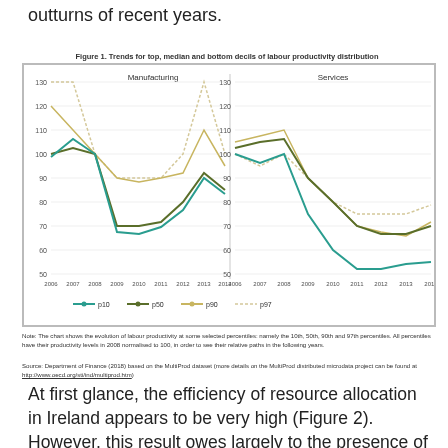outturns of recent years.
Figure 1. Trends for top, median and bottom decils of labour productivity distribution
[Figure (line-chart): Two-panel line chart showing Manufacturing (left) and Services (right). Y-axis 50-130 for both. X-axis 2006-2014. Four lines: p10 (teal), p50 (dark green), p90 (tan/gold), p97 (dotted light). Manufacturing: all lines start ~100-130 in 2006, dip to ~65-80 in 2009-2011, recover partially to ~80-115 by 2013-2014. Services: p10 starts ~100, drops sharply to ~50-55 by 2011-2012, stays low. p50, p90, p97 decline then partially recover to 60-75 range.]
Note: The chart shows the evolution of labour productivity at some selected percentiles: namely the 10th, 50th, 90th and 97th percentiles. All percentiles have their productivity levels in 2008 normalised to 100, in order to see their relative paths in the following years.
Source: Department of Finance (2018) based on the MultiProd dataset (more details on the MultiProd distributed microdata project can be found at http://www.oecd.org/sti/ind/multiprod.htm)
At first glance, the efficiency of resource allocation in Ireland appears to be very high (Figure 2). However, this result owes largely to the presence of MNEs that can raise a huge amount of resources from different channels. Once the MNE-dominated sectors have been excluded, the efficiency of